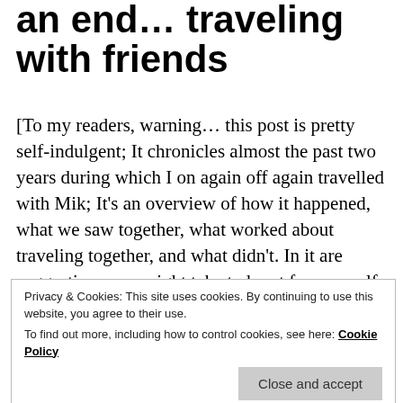an end… traveling with friends
[To my readers, warning… this post is pretty self-indulgent; It chronicles almost the past two years during which I on again off again travelled with Mik; It's an overview of how it happened, what we saw together, what worked about traveling together, and what didn't. In it are suggestions you might take to heart for yourself, should you team up with a travel companion, but you'll have to read through all the hay to find those pins of value, cause this is a stream of consciousness, psychological dump on
Privacy & Cookies: This site uses cookies. By continuing to use this website, you agree to their use.
To find out more, including how to control cookies, see here: Cookie Policy
and I are. Mik and I have decided to amicably 'split